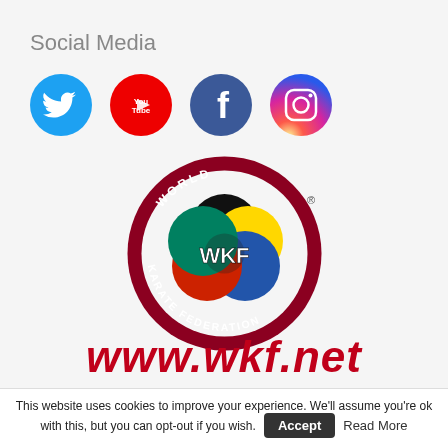Social Media
[Figure (logo): Four social media icons in circles: Twitter (blue bird), YouTube (red with YouTube logo), Facebook (dark blue with f), Instagram (gradient circle with camera icon)]
[Figure (logo): World Karate Federation (WKF) circular logo with dark red border, showing overlapping colored circles (black, yellow, teal, red, blue) with WKF text in center and 'WORLD KARATE FEDERATION' around the ring]
www.wkf.net
This website uses cookies to improve your experience. We'll assume you're ok with this, but you can opt-out if you wish. Accept Read More